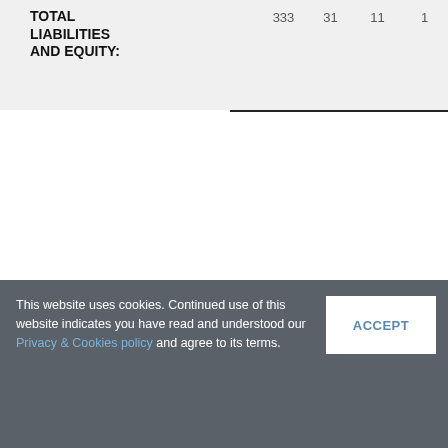|  |  |  |  |  |
| --- | --- | --- | --- | --- |
| TOTAL LIABILITIES AND EQUITY: | 333 | 31 | 11 | 1 |
Income Statement (P&L) ($ in thousands)
Annual | Quarterly
This website uses cookies. Continued use of this website indicates you have read and understood our Privacy & Cookies policy and agree to its terms.